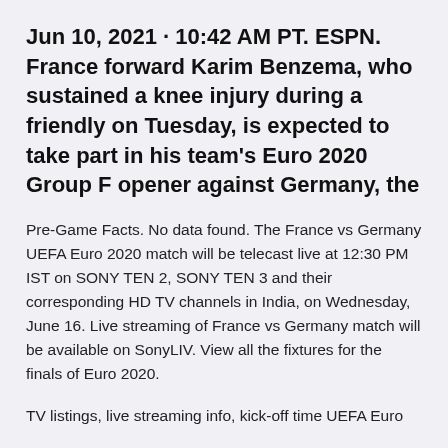Jun 10, 2021 · 10:42 AM PT. ESPN. France forward Karim Benzema, who sustained a knee injury during a friendly on Tuesday, is expected to take part in his team's Euro 2020 Group F opener against Germany, the
Pre-Game Facts. No data found. The France vs Germany UEFA Euro 2020 match will be telecast live at 12:30 PM IST on SONY TEN 2, SONY TEN 3 and their corresponding HD TV channels in India, on Wednesday, June 16. Live streaming of France vs Germany match will be available on SonyLIV. View all the fixtures for the finals of Euro 2020.
TV listings, live streaming info, kick-off time UEFA Euro